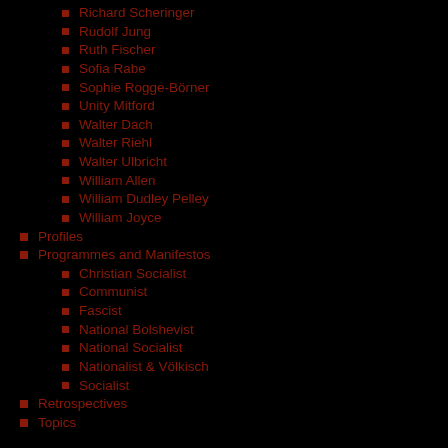Richard Scheringer
Rudolf Jung
Ruth Fischer
Sofia Rabe
Sophie Rogge-Börner
Unity Mitford
Walter Dach
Walter Riehl
Walter Ulbricht
William Allen
William Dudley Pelley
William Joyce
Profiles
Programmes and Manifestos
Christian Socialist
Communist
Fascist
National Bolshevist
National Socialist
Nationalist & Völkisch
Socialist
Retrospectives
Topics